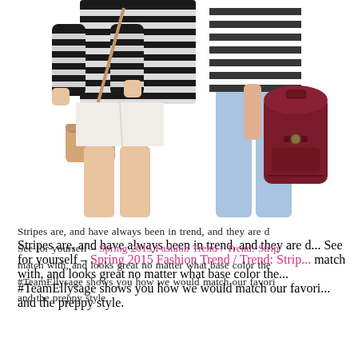[Figure (photo): Two fashion photos side by side. Left: woman wearing black and white horizontal striped sweater with white shorts, carrying a tan crossbody bag. Right: person wearing a white and black striped top with light blue skinny jeans, holding a dark red/burgundy leather backpack.]
Stripes are, and have always been in trend, and they are d... See for yourself – Spring 2015 Fashion Trend / Trend: Stri... match with, and looks great no matter what base color the... #TeamEllysage shows you how we would match our favori... and the preppy style.